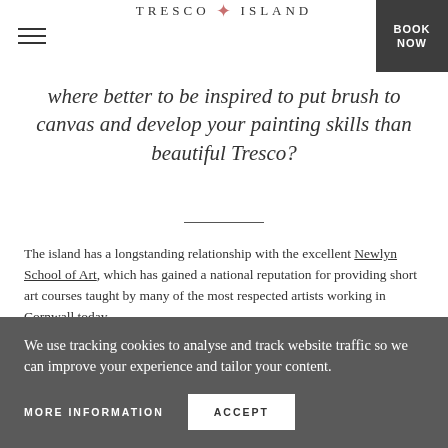TRESCO ISLAND | BOOK NOW
Where better to be inspired to put brush to canvas and develop your painting skills than beautiful Tresco?
The island has a longstanding relationship with the excellent Newlyn School of Art, which has gained a national reputation for providing short art courses taught by many of the most respected artists working in Cornwall today.
These courses offer a broad and free approach to landscape painting with waterbased paints used alongside other mixed media. All levels of
We use tracking cookies to analyse and track website traffic so we can improve your experience and tailor your content.
MORE INFORMATION   ACCEPT